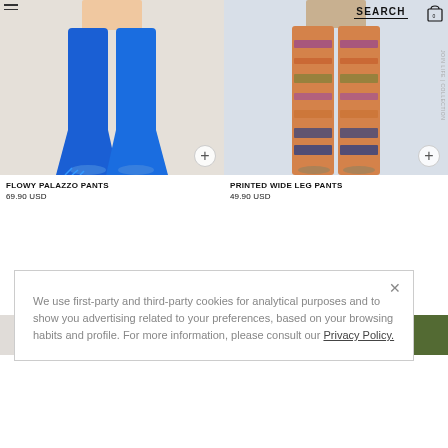[Figure (photo): Woman wearing bright blue flowy palazzo pants, photographed from waist down against a light beige background]
[Figure (photo): Woman wearing printed wide leg pants with colorful floral/paisley pattern, photographed from waist down against a light grey-blue background]
FLOWY PALAZZO PANTS
69.90 USD
PRINTED WIDE LEG PANTS
49.90 USD
[Figure (photo): Partial bottom strip showing two more product images, left is light/grey, right shows outdoor greenery]
We use first-party and third-party cookies for analytical purposes and to show you advertising related to your preferences, based on your browsing habits and profile. For more information, please consult our Privacy Policy.